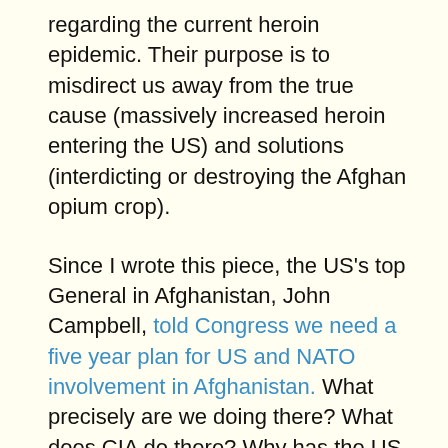regarding the current heroin epidemic.  Their purpose is to misdirect us away from the true cause (massively increased heroin entering the US) and solutions (interdicting or destroying the Afghan opium crop).
Since I wrote this piece, the US's top General in Afghanistan, John Campbell, told Congress we need a five year plan for US and NATO involvement in Afghanistan. What precisely are we doing there?  What does CIA do there? Why has the US military been prevented from stopping opium production in territories it controls?  Does an even worse Afghan heroin epidemic in Russia affect US strategic thinking?  What did Hillary Clinton know and do about rising Afghan heroin production during her time as Secretary of State?  Why aren't these questions being asked of our Presidential candidates?